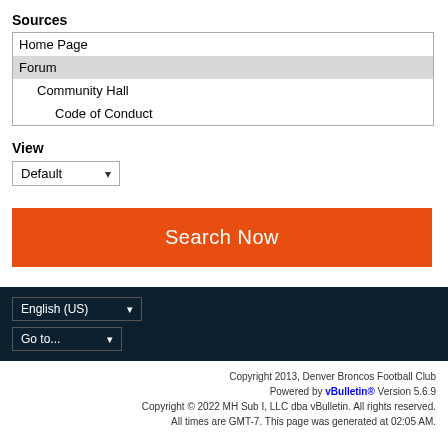Sources
Home Page
Forum
Community Hall
Code of Conduct
View
Default
Search Now
English (US)
Go to...
Copyright 2013, Denver Broncos Football Club
Powered by vBulletin® Version 5.6.9
Copyright © 2022 MH Sub I, LLC dba vBulletin. All rights reserved.
All times are GMT-7. This page was generated at 02:05 AM.